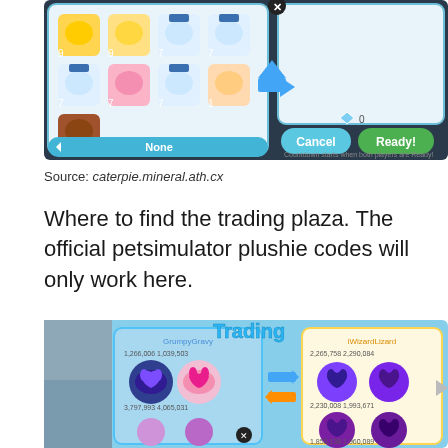[Figure (screenshot): Screenshot of a pet trading interface in Pet Simulator X (Roblox game). Shows a grid of pet icons on the left with numbers (9, 7, 1 etc.) and a trading panel on the right with Cancel and Ready buttons. A blue arrow points right. Bottom shows 'None' in a blue banner. Text reads 'Countdown starts when both players are Ready!']
Source: caterpie.mineral.ath.cx
Where to find the trading plaza. The official petsimulator plushie codes will only work here.
[Figure (screenshot): Screenshot of the Trading plaza in Pet Simulator X (Roblox). Shows a 'Trading' title in blue with two players 'GrumpyGravy' and 'iWizardLizard' exchanging pets. Left side shows colorful cats/pets with numbers like 1,266,006 / 1,039,503 and 3,797,993 / 4,065,031. Right side shows dark bat-like pets with numbers 2,265,758 / 2,290,084 and 2,230,008 / 1,993,671 and 1,850,138 / 1,960,089. Blue and orange arrows between the two panels. An X button visible.]